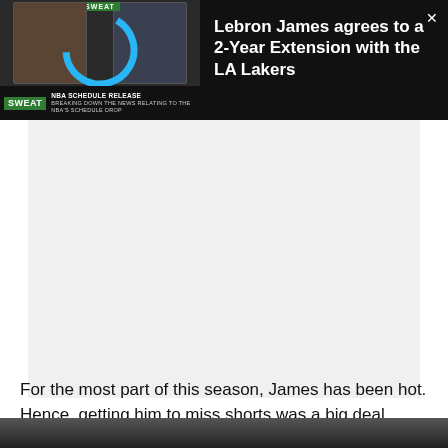[Figure (screenshot): Video thumbnail showing two people in a video call with NBA Schedule Release lower-third banner and SWEAT logo]
Lebron James agrees to a 2-Year Extension with the LA Lakers
[Figure (photo): Blank/white advertisement area]
For the most part of this season, James has been hot. Hence, getting him to miss shorts was a big deal.
[Figure (photo): Bottom portion of a crowd/basketball game photo]